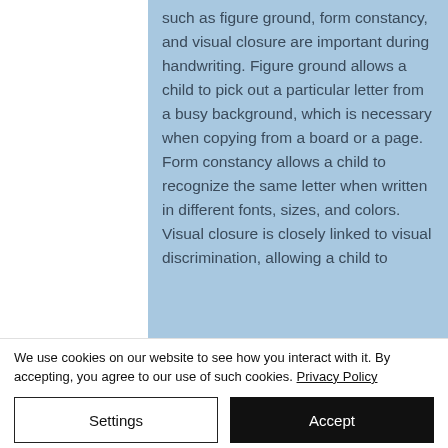such as figure ground, form constancy, and visual closure are important during handwriting. Figure ground allows a child to pick out a particular letter from a busy background, which is necessary when copying from a board or a page. Form constancy allows a child to recognize the same letter when written in different fonts, sizes, and colors. Visual closure is closely linked to visual discrimination, allowing a child to
We use cookies on our website to see how you interact with it. By accepting, you agree to our use of such cookies. Privacy Policy
Settings
Accept